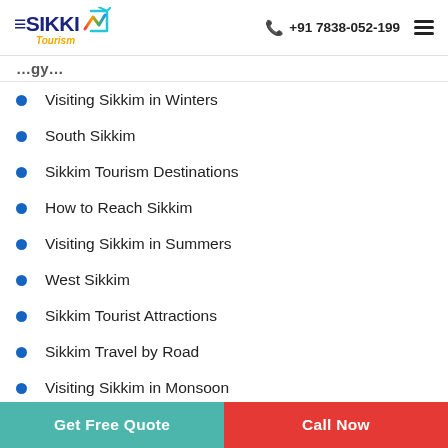eSikkim Tourism — +91 7838-052-199
Visiting Sikkim in Winters
South Sikkim
Sikkim Tourism Destinations
How to Reach Sikkim
Visiting Sikkim in Summers
West Sikkim
Sikkim Tourist Attractions
Sikkim Travel by Road
Visiting Sikkim in Monsoon
Get Free Quote  |  Call Now